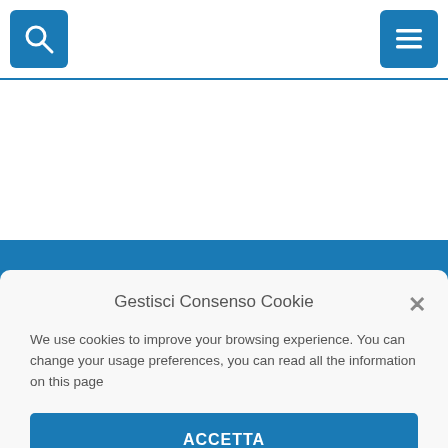[Figure (screenshot): Website header with blue search icon button on left and blue hamburger menu button on right, separated by a blue horizontal line]
Gestisci Consenso Cookie
We use cookies to improve your browsing experience. You can change your usage preferences, you can read all the information on this page
ACCETTA
NEGA
PREFERENCES